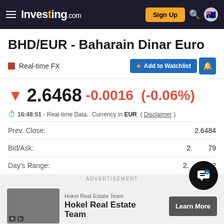Investing.com — Sign Up
BHD/EUR - Baharain Dinar Euro
Real-time FX  Add to Watchlist
2.6468  -0.0016  (-0.06%)
16:48:51 - Real-time Data. Currency in EUR (Disclaimer)
| Label | Value |
| --- | --- |
| Prev. Close: | 2.6484 |
| Bid/Ask: | 2.___/___79 |
| Day's Range: | 2._____92 |
ADVERTISEMENT
Hokel Real Estate Team — Hokel Real Estate Team — Learn More